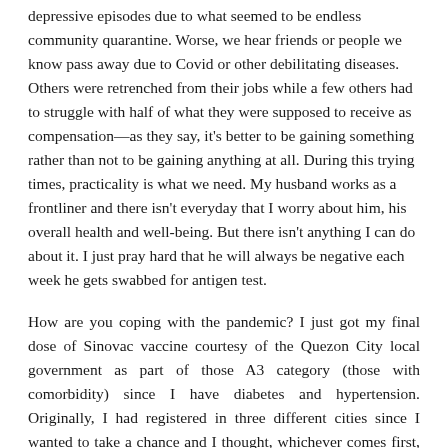depressive episodes due to what seemed to be endless community quarantine. Worse, we hear friends or people we know pass away due to Covid or other debilitating diseases. Others were retrenched from their jobs while a few others had to struggle with half of what they were supposed to receive as compensation—as they say, it's better to be gaining something rather than not to be gaining anything at all. During this trying times, practicality is what we need. My husband works as a frontliner and there isn't everyday that I worry about him, his overall health and well-being. But there isn't anything I can do about it. I just pray hard that he will always be negative each week he gets swabbed for antigen test.
How are you coping with the pandemic? I just got my final dose of Sinovac vaccine courtesy of the Quezon City local government as part of those A3 category (those with comorbidity) since I have diabetes and hypertension. Originally, I had registered in three different cities since I wanted to take a chance and I thought, whichever comes first, there will I go and get my vaccine. I had registered in the City of Manila (since workplace is within the area), in Las Pinas (because my husband hails from there and that's where we were supposed to live) and back home (in Quezon City) even if I am now living in Bacoor Cavite since January 2021